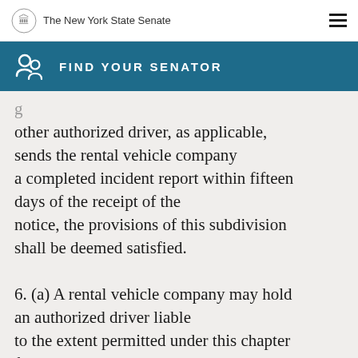The New York State Senate
FIND YOUR SENATOR
other authorized driver, as applicable, sends the rental vehicle company a completed incident report within fifteen days of the receipt of the notice, the provisions of this subdivision shall be deemed satisfied.

6. (a) A rental vehicle company may hold an authorized driver liable to the extent permitted under this chapter for physical or mechanical